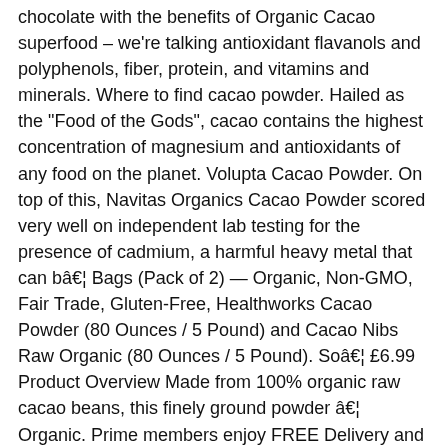chocolate with the benefits of Organic Cacao superfood – we're talking antioxidant flavanols and polyphenols, fiber, protein, and vitamins and minerals. Where to find cacao powder. Hailed as the "Food of the Gods", cacao contains the highest concentration of magnesium and antioxidants of any food on the planet. Volupta Cacao Powder. On top of this, Navitas Organics Cacao Powder scored very well on independent lab testing for the presence of cadmium, a harmful heavy metal that can bâ¦ Bags (Pack of 2) — Organic, Non-GMO, Fair Trade, Gluten-Free, Healthworks Cacao Powder (80 Ounces / 5 Pound) and Cacao Nibs Raw Organic (80 Ounces / 5 Pound). Soâ¦ £6.99 Product Overview Made from 100% organic raw cacao beans, this finely ground powder â¦ Organic. Prime members enjoy FREE Delivery and exclusive access to music, movies, TV shows, original audio series, and Kindle books. While sipping a cup of hot cacao prepared with Andean Star Organic Cacao Powder, one can benefit from the following health properties: Cacao is high in antioxidants. Strictly Necessary Cookie should be enabled at all times so that we can save your preferences for cookie settings